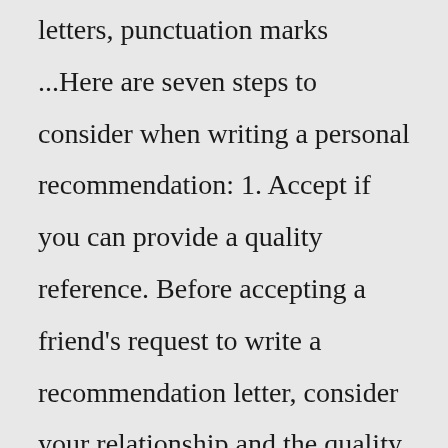letters, punctuation marks ...Here are seven steps to consider when writing a personal recommendation: 1. Accept if you can provide a quality reference. Before accepting a friend's request to write a recommendation letter, consider your relationship and the quality of recommendation you can provide. Advisers, mentors and friends with knowledge of the candidate's ...A reference letter is a positive